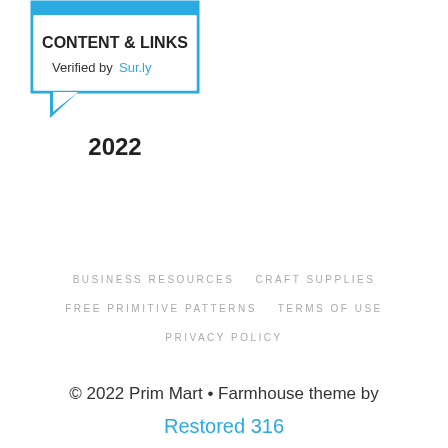[Figure (logo): Sur.ly Content & Links verification badge for 2022 — speech-bubble shape with blue top bar, bold text 'CONTENT & LINKS', 'Verified by Sur.ly' below, and '2022' underneath]
BUSINESS RESOURCES   CRAFT SUPPLIES
FREE PRIMITIVE PATTERNS   TERMS OF USE
PRIVACY POLICY
© 2022 Prim Mart • Farmhouse theme by Restored 316